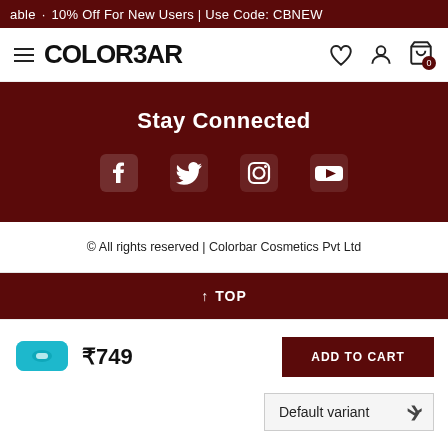able · 10% Off For New Users | Use Code: CBNEW
[Figure (logo): Colorbar logo with hamburger menu, wishlist heart, account, and cart icons]
Stay Connected
[Figure (infographic): Social media icons: Facebook, Twitter, Instagram, YouTube]
© All rights reserved | Colorbar Cosmetics Pvt Ltd
↑ TOP
[Figure (photo): Turquoise cosmetic pouch product thumbnail]
₹749
ADD TO CART
Default variant